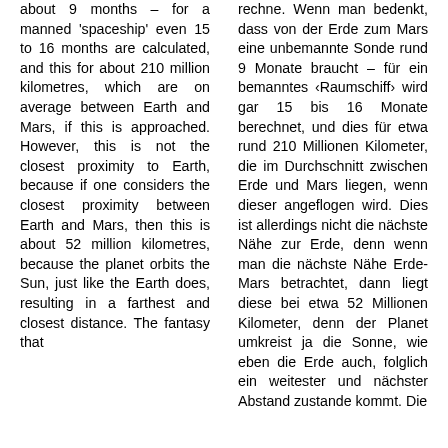about 9 months – for a manned 'spaceship' even 15 to 16 months are calculated, and this for about 210 million kilometres, which are on average between Earth and Mars, if this is approached. However, this is not the closest proximity to Earth, because if one considers the closest proximity between Earth and Mars, then this is about 52 million kilometres, because the planet orbits the Sun, just like the Earth does, resulting in a farthest and closest distance. The fantasy that
rechne. Wenn man bedenkt, dass von der Erde zum Mars eine unbemannte Sonde rund 9 Monate braucht – für ein bemanntes ‹Raumschiff› wird gar 15 bis 16 Monate berechnet, und dies für etwa rund 210 Millionen Kilometer, die im Durchschnitt zwischen Erde und Mars liegen, wenn dieser angeflogen wird. Dies ist allerdings nicht die nächste Nähe zur Erde, denn wenn man die nächste Nähe Erde-Mars betrachtet, dann liegt diese bei etwa 52 Millionen Kilometer, denn der Planet umkreist ja die Sonne, wie eben die Erde auch, folglich ein weitester und nächster Abstand zustande kommt. Die